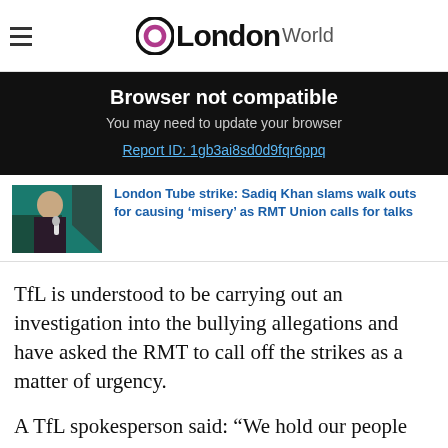LondonWorld
Browser not compatible
You may need to update your browser
Report ID: 1gb3ai8sd0d9fqr6ppq
[Figure (photo): Photo of a person in a suit holding a microphone against a teal background]
London Tube strike: Sadiq Khan slams walk outs for causing ‘misery’ as RMT Union calls for talks
TfL is understood to be carrying out an investigation into the bullying allegations and have asked the RMT to call off the strikes as a matter of urgency.
A TfL spokesperson said: “We hold our people